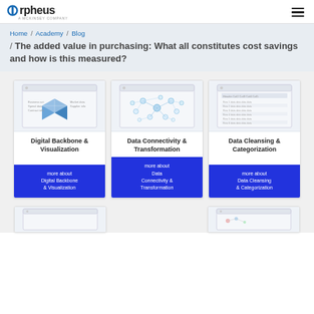Orpheus — A McKinsey Company
Home / Academy / Blog / The added value in purchasing: What all constitutes cost savings and how is this measured?
The added value in purchasing: What all constitutes cost savings and how is this measured?
Digital Backbone & Visualization — more about Digital Backbone & Visualization
Data Connectivity & Transformation — more about Data Connectivity & Transformation
Data Cleansing & Categorization — more about Data Cleansing & Categorization